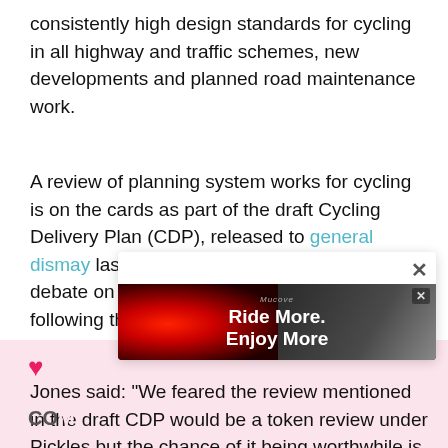consistently high design standards for cycling in all highway and traffic schemes, new developments and planned road maintenance work.
A review of planning system works for cycling is on the cards as part of the draft Cycling Delivery Plan (CDP), released to general dismay last year hours before a long-planned debate on cycling was tabled in the Commons following the Get Britain Cycling report.
Jones said: "We feared the review mentioned in the draft CDP would be a token review under Pickles but the chance of it being worthwhile is much more promising under Clark."
[Figure (other): Advertisement popup overlay showing 'Ride More. Enjoy More' cycling product ad with a close (X) button, displayed over a comment section with a pink heart icon.]